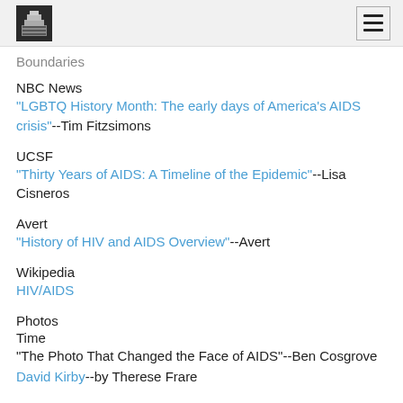[Logo] [Hamburger menu]
Boundaries
NBC News
"LGBTQ History Month: The early days of America's AIDS crisis"--Tim Fitzsimons
UCSF
"Thirty Years of AIDS: A Timeline of the Epidemic"--Lisa Cisneros
Avert
"History of HIV and AIDS Overview"--Avert
Wikipedia
HIV/AIDS
Photos
Time
"The Photo That Changed the Face of AIDS"--Ben Cosgrove
David Kirby--by Therese Frare